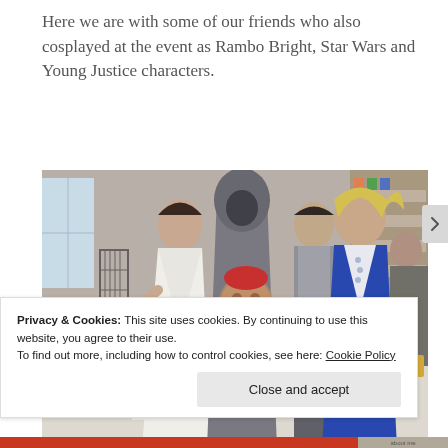Here we are with some of our friends who also cosplayed at the event as Rambo Bright, Star Wars and Young Justice characters.
[Figure (photo): Group photo of people in costumes at an indoor event/convention. Costumes include a white wedding dress, a hooded grey robe, a small puppet/creature costume with orange vest, casual rebel outfit, and an elaborate blue jacket with wild blonde hair (Labyrinth/David Bowie style). A person in dark clothes stands at right edge. Store shelves visible in background.]
Privacy & Cookies: This site uses cookies. By continuing to use this website, you agree to their use.
To find out more, including how to control cookies, see here: Cookie Policy
Close and accept